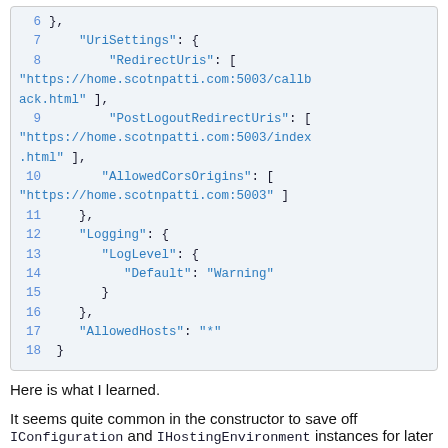[Figure (screenshot): Code block showing JSON configuration with line numbers 6-18, including UriSettings, RedirectUris, PostLogoutRedirectUris, AllowedCorsOrigins, Logging, LogLevel, Default, AllowedHosts fields]
Here is what I learned.
It seems quite common in the constructor to save off IConfiguration and IHostingEnvironment instances for later use.